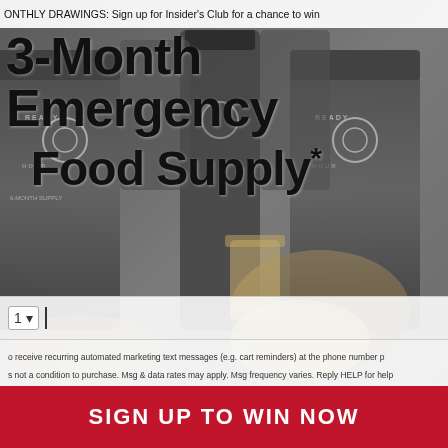MONTHLY DRAWINGS: Sign up for Insider's Club for a chance to win
[Figure (photo): Background photo of Ready Hour emergency food supply buckets/canisters and prepared food dishes including soup and other meals]
3-Month Emergency Food Supply*
Phone number input field with country code selector (1)
to receive recurring automated marketing text messages (e.g. cart reminders) at the phone number provided. Is not a condition to purchase. Msg & data rates may apply. Msg frequency varies. Reply HELP for help. STOP to cancel. View our Terms of Service and Privacy Policy. See MyPatriotSupply.com/3-month-sweepstakes fo
SIGN UP TO WIN NOW